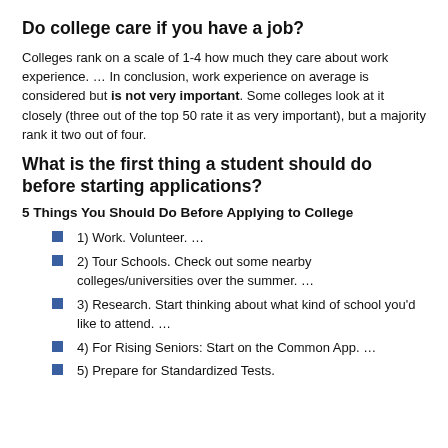Do college care if you have a job?
Colleges rank on a scale of 1-4 how much they care about work experience. … In conclusion, work experience on average is considered but is not very important. Some colleges look at it closely (three out of the top 50 rate it as very important), but a majority rank it two out of four.
What is the first thing a student should do before starting applications?
5 Things You Should Do Before Applying to College
1) Work. Volunteer. …
2) Tour Schools. Check out some nearby colleges/universities over the summer. …
3) Research. Start thinking about what kind of school you'd like to attend. …
4) For Rising Seniors: Start on the Common App. …
5) Prepare for Standardized Tests.